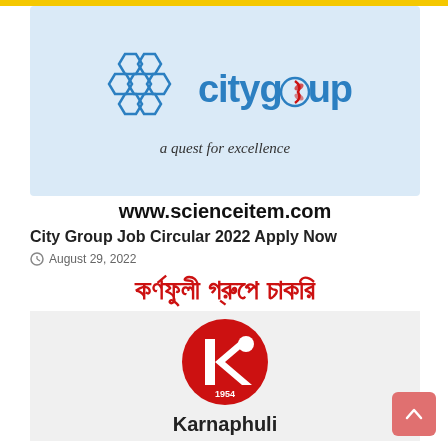[Figure (logo): City Group logo banner with honeycomb hexagon pattern and text 'citygroup a quest for excellence' on a light blue background]
www.scienceitem.com
City Group Job Circular 2022 Apply Now
August 29, 2022
[Figure (logo): Karnaphuli Group job circular image with Bengali text 'কর্ণফুলী গ্রুপে চাকরি' in red on white background, and Karnaphuli logo (red K in circle with 1954) and text 'Karnaphuli' below]